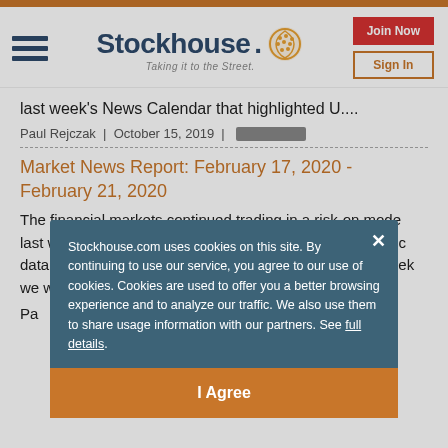Stockhouse — Taking it to the Street. [Join Now] [Sign In]
last week's News Calendar that highlighted U....
Paul Rejczak  |  October 15, 2019  |
Market News Report: February 17, 2020 - February 21, 2020
The financial markets continued trading in a risk-on mode last week, as China virus fears were easing and economic data was supporting Fed's easy monetary policy. This week we will have another series of qu
Pa
A
A
Li
A
Stockhouse.com uses cookies on this site. By continuing to use our service, you agree to our use of cookies. Cookies are used to offer you a better browsing experience and to analyze our traffic. We also use them to share usage information with our partners. See full details. [I Agree]